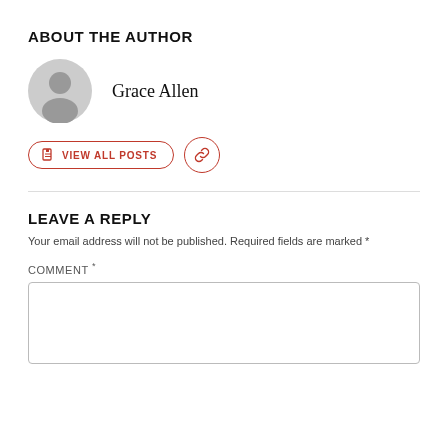ABOUT THE AUTHOR
Grace Allen
VIEW ALL POSTS
LEAVE A REPLY
Your email address will not be published. Required fields are marked *
COMMENT *